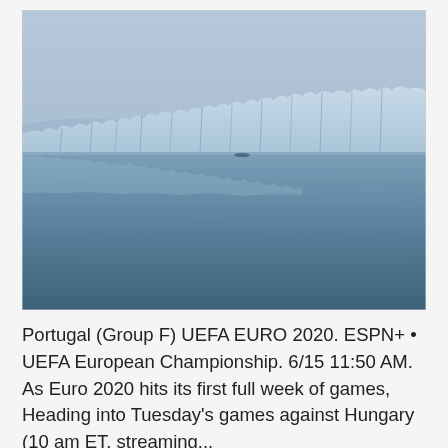[Figure (photo): A glacier landscape reflected in calm water, photographed in misty blue-grey tones. The glacier face spans the middle of the image with its jagged ice wall reflected in the still water below. The sky above is hazy and pale blue-grey.]
Portugal (Group F) UEFA EURO 2020. ESPN+ • UEFA European Championship. 6/15 11:50 AM. As Euro 2020 hits its first full week of games, Heading into Tuesday's games against Hungary (10 am ET, streaming...